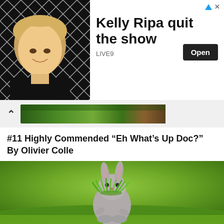[Figure (photo): Advertisement banner: photo of blonde woman (Kelly Ripa) in front of a black-and-white diamond pattern background, with headline 'Kelly Ripa quit the show', subtext 'LIVE9', and an 'Open' button]
[Figure (photo): Thin horizontal preview strip of a green outdoor scene with navigation chevron]
#11 Highly Commended “Eh What’s Up Doc?” By Olivier Colle
[Figure (photo): Photograph of a grey rabbit standing upright on its hind legs on a lawn, with a bunch of green grass held in its mouth, with a blurred green background]